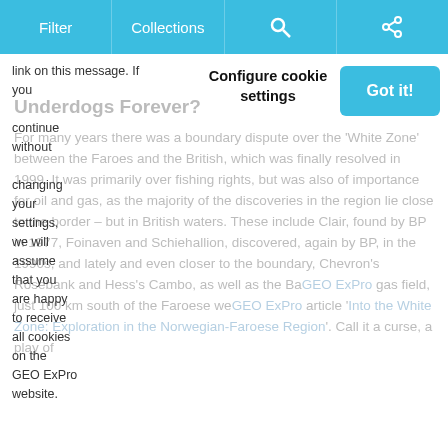Filter | Collections | [search icon] | [share icon]
Configure cookie settings
link on this message. If you continue without changing your settings, we will assume that you are happy to receive all cookies on the GEO ExPro website.
Got it!
Underdogs Forever?
For many years there was a boundary dispute over the 'White Zone' between the Faroes and the British, which was finally resolved in 1999. It was primarily over fishing rights, but was also of importance for oil and gas, as the majority of the discoveries in the region lie close to the border – but in British waters. These include Clair, found by BP in 1977, Foinaven and Schiehallion, discovered, again by BP, in the 1990s, and lately and even closer to the boundary, Chevron's Rosebank and Hess's Cambo, as well as the Ba GEO ExPro gas field, just 100 km south of the Faroese we GEO ExPro article 'Into the White Zone: Exploration in the Norwegian-Faroese Region'. Call it a curse, a play of